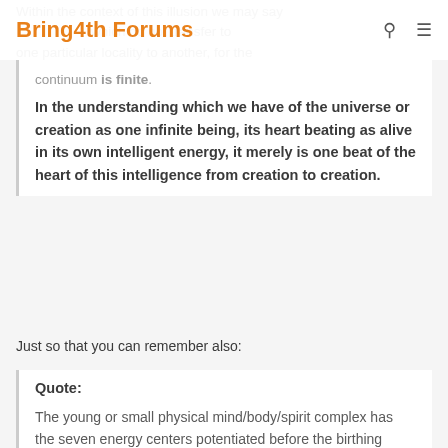Bring4th Forums
Within the context of this illusion we may say the continuum is finite.
In the understanding which we have of the universe or creation as one infinite being, its heart beating as alive in its own intelligent energy, it merely is one beat of the heart of this intelligence from creation to creation.
Just so that you can remember also:
Quote: The young or small physical mind/body/spirit complex has the seven energy centers potentiated before the birthing process. There are also analogs in time/space of these energy centers corresponding to the seven energy